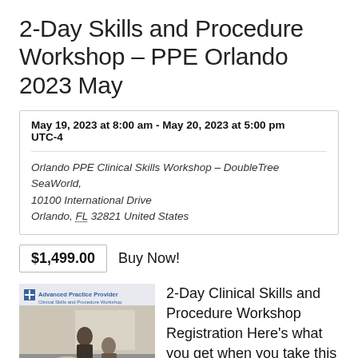2-Day Skills and Procedure Workshop – PPE Orlando 2023 May
May 19, 2023 at 8:00 am - May 20, 2023 at 5:00 pm UTC-4
Orlando PPE Clinical Skills Workshop – DoubleTree SeaWorld, 10100 International Drive Orlando, FL 32821 United States
$1,499.00 Buy Now!
[Figure (photo): Photo of medical professionals practicing clinical skills with logo banner for Advanced Practice Provider Clinical Skills and Procedure Workshop and a 2 Day Course badge]
2-Day Clinical Skills and Procedure Workshop Registration Here's what you get when you take this course: